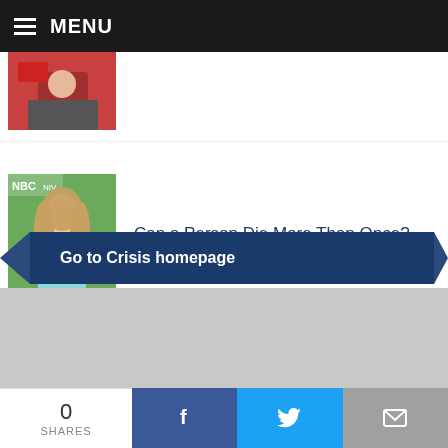MENU
[Figure (photo): Partially visible photo at top, person in red hat]
[Figure (photo): Woman with blonde hair at NBC event, green background]
Can a Person Die More Than Once?
[Figure (photo): Aerial view of a college campus with gothic tower]
Could Student Loan Forgiveness Portend the End of Catholic Colleges?
Go to Crisis homepage
0 SHARES